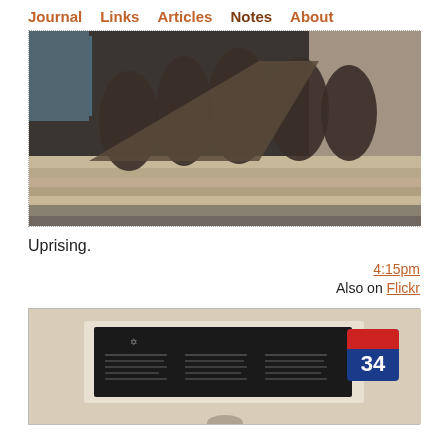Journal  Links  Articles  Notes  About
[Figure (photo): A war monument with bronze sculptures of soldiers charging, on stepped stone base, with glass building in background.]
Uprising.
4:15pm
Also on Flickr
[Figure (photo): A commemorative black plaque with multilingual text mounted on a beige wall, and a blue number 34 address sign to the right.]